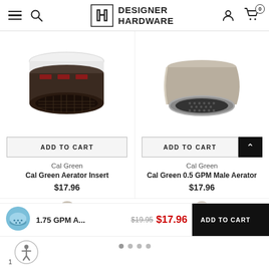DESIGNER HARDWARE
[Figure (photo): Cal Green Aerator Insert product photo — dark grey/brown aerator with mesh screen and white plastic ring on top]
[Figure (photo): Cal Green 0.5 GPM Male Aerator product photo — brushed nickel metal aerator with honeycomb mesh]
ADD TO CART
ADD TO CART
Cal Green
Cal Green
Cal Green Aerator Insert
Cal Green 0.5 GPM Male Aerator
$17.96
$17.96
1.75 GPM A...
$19.95  $17.96
ADD TO CART
1